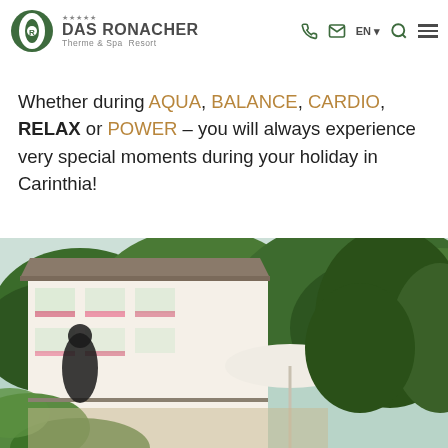[Figure (logo): Das Ronacher Therme & Spa Resort logo with circular green eye/leaf emblem and hotel name]
Clear ... ation is just as important as to make ... for a fit body. Here you get a well-adjusted spirit and a healthy body.
Whether during AQUA, BALANCE, CARDIO, RELAX or POWER – you will always experience very special moments during your holiday in Carinthia!
[Figure (photo): Exterior photo of Das Ronacher hotel building surrounded by lush green trees and a patio area with a white umbrella]